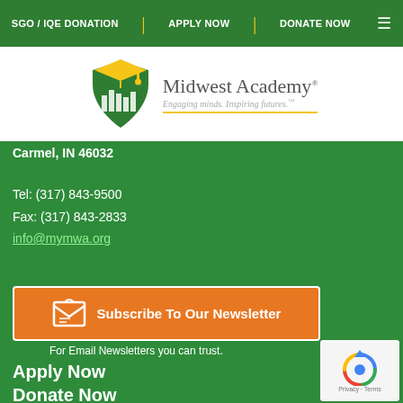SGO / IQE DONATION | APPLY NOW | DONATE NOW
[Figure (logo): Midwest Academy logo with green shield and graduation cap, tagline: Engaging minds. Inspiring futures.]
Carmel, IN 46032
Tel: (317) 843-9500
Fax: (317) 843-2833
info@mymwa.org
Subscribe To Our Newsletter
For Email Newsletters you can trust.
Apply Now
Donate Now